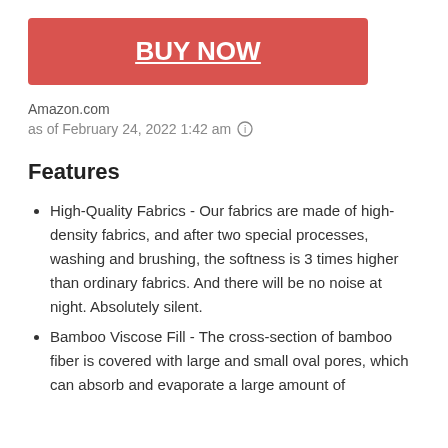BUY NOW
Amazon.com
as of February 24, 2022 1:42 am
Features
High-Quality Fabrics - Our fabrics are made of high-density fabrics, and after two special processes, washing and brushing, the softness is 3 times higher than ordinary fabrics. And there will be no noise at night. Absolutely silent.
Bamboo Viscose Fill - The cross-section of bamboo fiber is covered with large and small oval pores, which can absorb and evaporate a large amount of